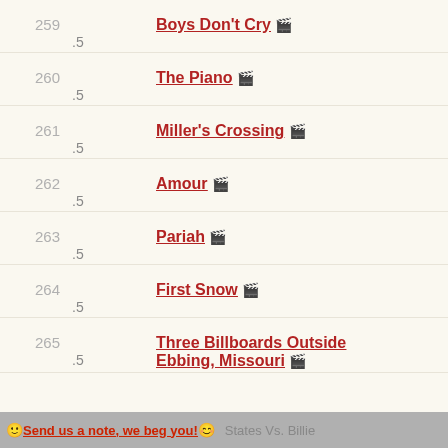259  ★★☆ .5  Boys Don't Cry 🎬
260  ★★☆ .5  The Piano 🎬
261  ★★☆ .5  Miller's Crossing 🎬
262  ★★☆ .5  Amour 🎬
263  ★★☆ .5  Pariah 🎬
264  ★★☆ .5  First Snow 🎬
265  ★★☆ .5  Three Billboards Outside Ebbing, Missouri 🎬
🙂Send us a note, we beg you!😊   States Vs. Billie